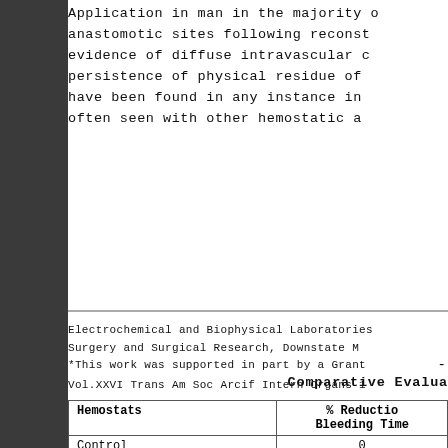Application in man in the majority of anastomotic sites following reconst evidence of diffuse intravascular c persistence of physical residue of have been found in any instance in often seen with other hemostatic a
Electrochemical and Biophysical Laboratories Surgery and Surgical Research, Downstate M *This work was supported in part by a Grant Vol.XXVI Trans Am Soc Arcif Intern Organs 1
Comparative Evalua
| Hemostats | % Reduction Bleeding Time |
| --- | --- |
| Control | 0 |
| Avitene | 111 |